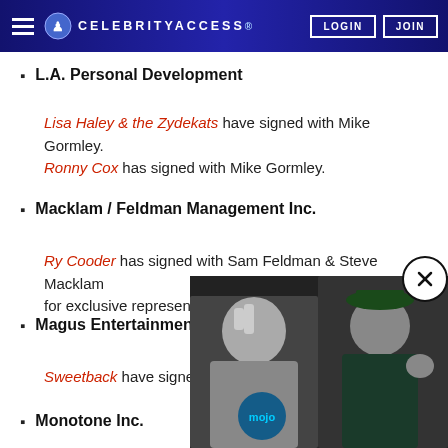CELEBRITYACCESS. LOGIN JOIN
L.A. Personal Development
Lisa Haley & the Zydekats have signed with Mike Gormley. Ronny Cox has signed with Mike Gormley.
Macklam / Feldman Management Inc.
Ry Cooder has signed with Sam Feldman & Steve Macklam for exclusive representation.
Magus Entertainment Inc.
Sweetback have signed with
Monotone Inc.
[Figure (photo): A popup advertisement overlay showing two men, with a WatchMojo logo watermark, and a close (X) button in the upper right corner.]